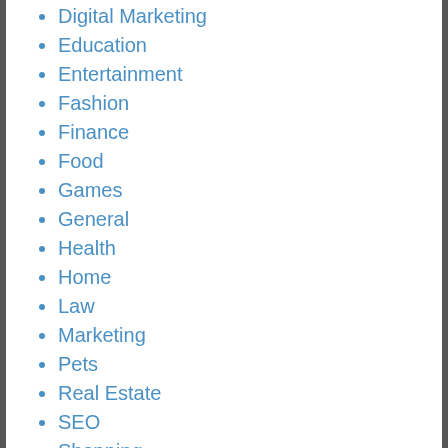Digital Marketing
Education
Entertainment
Fashion
Finance
Food
Games
General
Health
Home
Law
Marketing
Pets
Real Estate
SEO
Shopping
Social media
Software
Sports
Technology
Travel